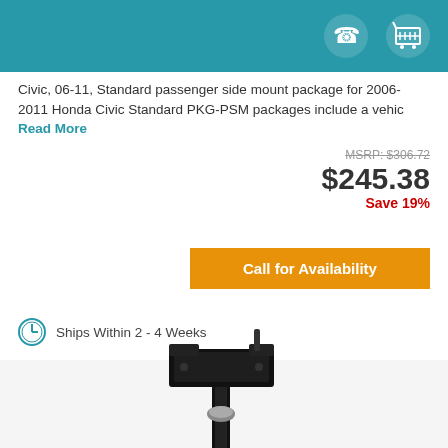[Figure (other): Teal header bar with phone icon and shopping cart icon in white on the right side]
Civic, 06-11, Standard passenger side mount package for 2006-2011 Honda Civic Standard PKG-PSM packages include a vehic Read More
MSRP: $306.72
$245.38
Save 19%
Call for Availability
Ships Within 2 - 4 Weeks
[Figure (photo): Black vehicle passenger side mount hardware product showing a mount bracket with pole and base on a white/light background]